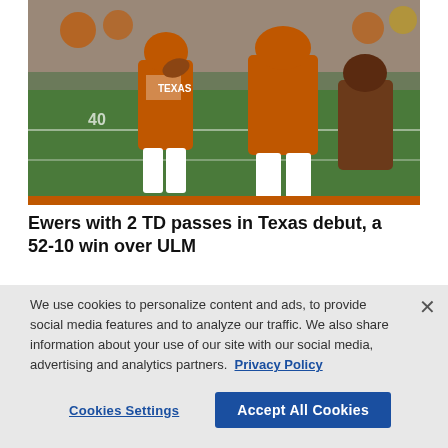[Figure (photo): Football action photo showing Texas Longhorns quarterback in orange uniform dropping back to pass, with offensive linemen blocking defenders, on a grass field.]
Ewers with 2 TD passes in Texas debut, a 52-10 win over ULM
We use cookies to personalize content and ads, to provide social media features and to analyze our traffic. We also share information about your use of our site with our social media, advertising and analytics partners. Privacy Policy